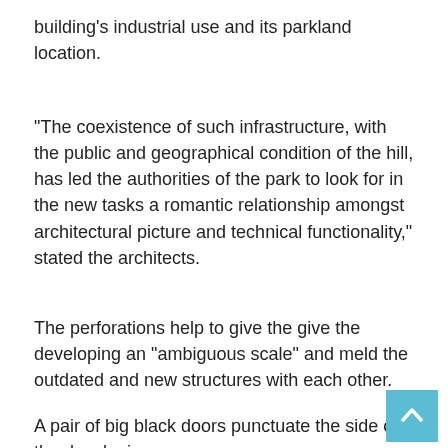building's industrial use and its parkland location.
“The coexistence of such infrastructure, with the public and geographical condition of the hill, has led the authorities of the park to look for in the new tasks a romantic relationship amongst architectural picture and technical functionality,” stated the architects.
The perforations help to give the give the developing an “ambiguous scale” and meld the outdated and new structures with each other.
A pair of big black doors punctuate the side of the developing,